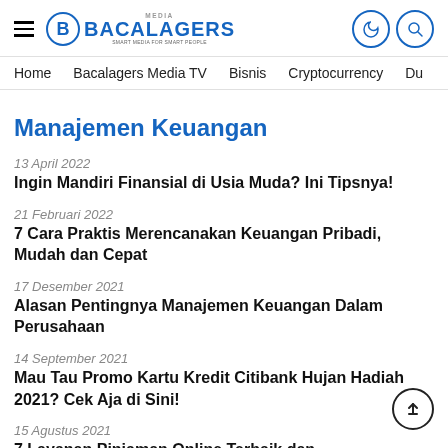Bacalagers Media — Home | Bacalagers Media TV | Bisnis | Cryptocurrency | Du
Manajemen Keuangan
13 April 2022
Ingin Mandiri Finansial di Usia Muda? Ini Tipsnya!
21 Februari 2022
7 Cara Praktis Merencanakan Keuangan Pribadi, Mudah dan Cepat
17 Desember 2021
Alasan Pentingnya Manajemen Keuangan Dalam Perusahaan
14 September 2021
Mau Tau Promo Kartu Kredit Citibank Hujan Hadiah 2021? Cek Aja di Sini!
15 Agustus 2021
7 Layanan Pinjaman Online Terbaik dan Terdaftar Resmi di OJK